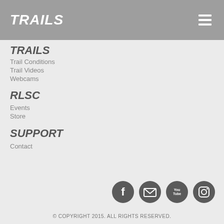TRAILS
TRAILS
Trail Conditions
Trail Videos
Webcams
RLSC
Events
Store
SUPPORT
Contact
[Figure (infographic): Social media icons: Facebook, Email, YouTube, Instagram]
© COPYRIGHT 2015. ALL RIGHTS RESERVED.